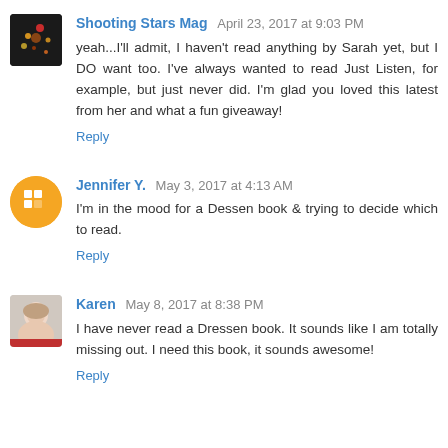Shooting Stars Mag April 23, 2017 at 9:03 PM
yeah...I'll admit, I haven't read anything by Sarah yet, but I DO want too. I've always wanted to read Just Listen, for example, but just never did. I'm glad you loved this latest from her and what a fun giveaway!
Reply
Jennifer Y. May 3, 2017 at 4:13 AM
I'm in the mood for a Dessen book & trying to decide which to read.
Reply
Karen May 8, 2017 at 8:38 PM
I have never read a Dressen book. It sounds like I am totally missing out. I need this book, it sounds awesome!
Reply